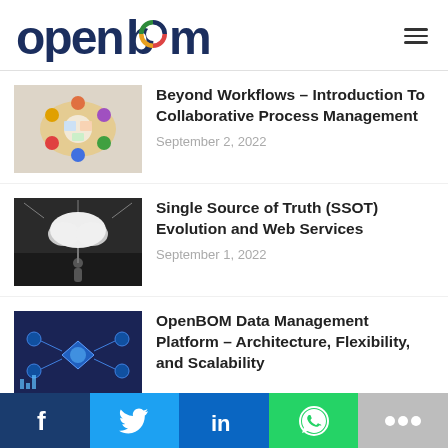openbom
Beyond Workflows – Introduction To Collaborative Process Management
September 2, 2022
Single Source of Truth (SSOT) Evolution and Web Services
September 1, 2022
OpenBOM Data Management Platform – Architecture, Flexibility, and Scalability